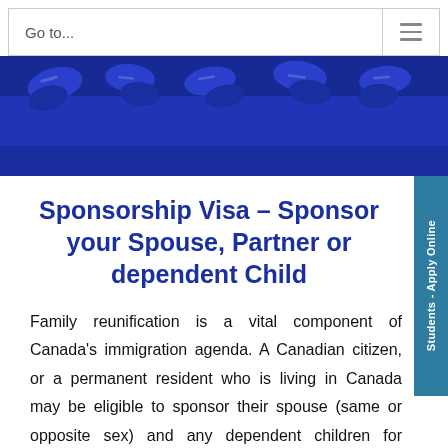Go to...
[Figure (photo): Blue banner with overhead view of people's feet wearing sneakers, jumping or standing on a blue background]
Sponsorship Visa – Sponsor your Spouse, Partner or dependent Child
Family reunification is a vital component of Canada's immigration agenda. A Canadian citizen, or a permanent resident who is living in Canada may be eligible to sponsor their spouse (same or opposite sex) and any dependent children for permanent residence in Canada. An application for sponsorship